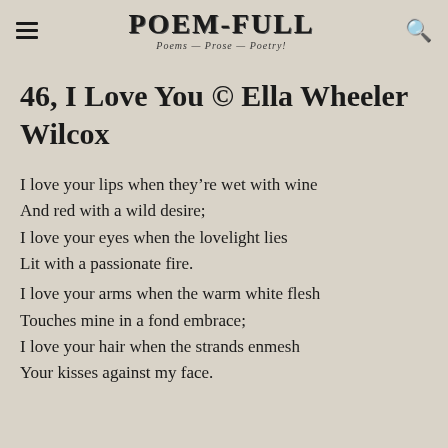POEM-FULL — Poems — Prose — Poetry!
46, I Love You © Ella Wheeler Wilcox
I love your lips when they're wet with wine
And red with a wild desire;
I love your eyes when the lovelight lies
Lit with a passionate fire.
I love your arms when the warm white flesh
Touches mine in a fond embrace;
I love your hair when the strands enmesh
Your kisses against my face.